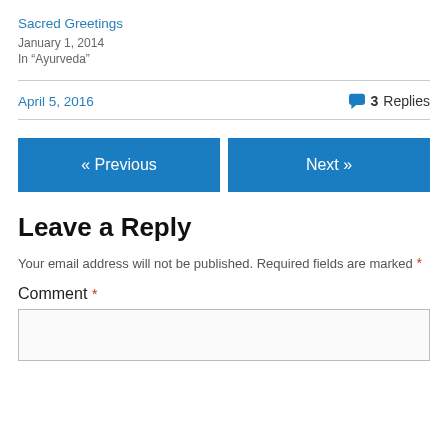Sacred Greetings
January 1, 2014
In "Ayurveda"
April 5, 2016   💬 3 Replies
« Previous
Next »
Leave a Reply
Your email address will not be published. Required fields are marked *
Comment *